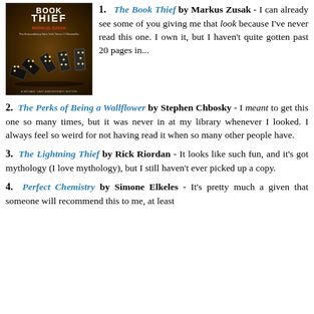[Figure (photo): Book cover of The Book Thief by Markus Zusak showing dominos on a dark background]
1. The Book Thief by Markus Zusak - I can already see some of you giving me that look because I've never read this one. I own it, but I haven't quite gotten past 20 pages in...
2. The Perks of Being a Wallflower by Stephen Chbosky - I meant to get this one so many times, but it was never in at my library whenever I looked. I always feel so weird for not having read it when so many other people have.
3. The Lightning Thief by Rick Riordan - It looks like such fun, and it's got mythology (I love mythology), but I still haven't ever picked up a copy.
4. Perfect Chemistry by Simone Elkeles - It's pretty much a given that someone will recommend this to me, at least...